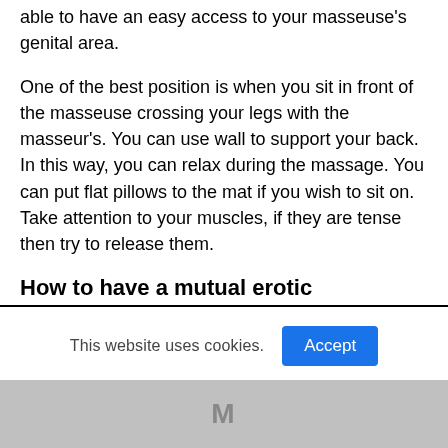able to have an easy access to your masseuse's genital area.
One of the best position is when you sit in front of the masseuse crossing your legs with the masseur's. You can use wall to support your back. In this way, you can relax during the massage. You can put flat pillows to the mat if you wish to sit on. Take attention to your muscles, if they are tense then try to release them.
How to have a mutual erotic
This website uses cookies.
M